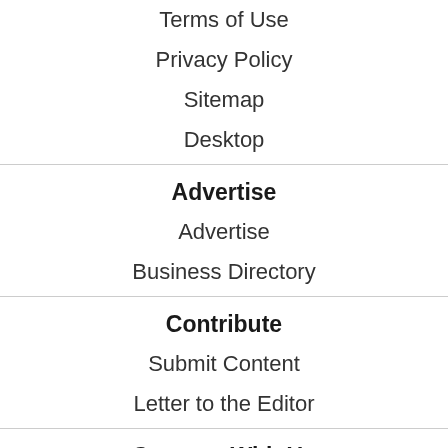Terms of Use
Privacy Policy
Sitemap
Desktop
Advertise
Advertise
Business Directory
Contribute
Submit Content
Letter to the Editor
Connect With Us
[Figure (logo): RSS feed icon in orange]